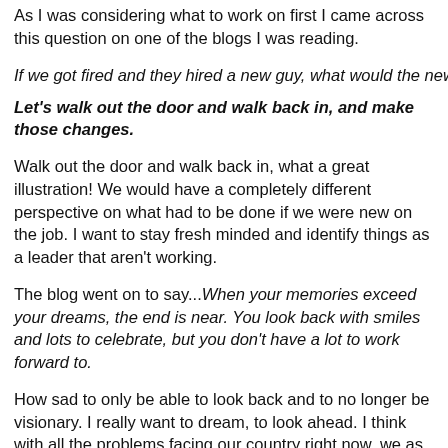As I was considering what to work on first I came across this question on one of the blogs I was reading.
If we got fired and they hired a new guy, what would the new guy change or do different? Let's walk out the door and walk back in, and make those changes.
Walk out the door and walk back in, what a great illustration! We would have a completely different perspective on what had to be done if we were new on the job. I want to stay fresh minded and identify things as a leader that aren't working.
The blog went on to say...When your memories exceed your dreams, the end is near. You look back with smiles and lots to celebrate, but you don't have a lot to work forward to.
How sad to only be able to look back and to no longer be visionary. I really want to dream, to look ahead. I think with all the problems facing our country right now, we as leaders will be required to have a clearer, stronger vision than ever before. If the economy continues in the direction it seems to